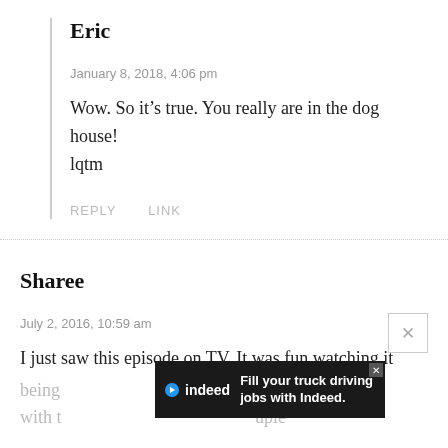Eric
January 8, 2018, 4:06 pm
Wow. So it’s true. You really are in the dog house!
lqtm
REPLY   LINK
Sharee
July 2, 2016, 10:59 am
I just saw this episode on TV. It was fun watching it being [ad overlay] up with t [ad overlay] uple
[Figure (screenshot): Indeed advertisement banner: 'Fill your truck driving jobs with Indeed.' with Indeed logo on dark background]